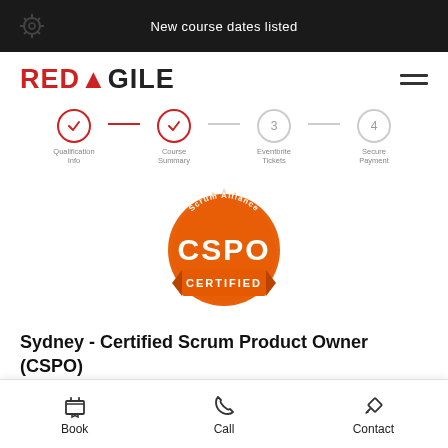[Figure (screenshot): Dark banner with decorative gear/settings icon on left and text 'New course dates listed' centered in white on black background]
[Figure (logo): RedAgile logo - RED in red, AGILE in dark with stylized A, and hamburger menu icon on right]
[Figure (infographic): 4-step progress indicator: step 1 (Qualification Info) checked red, step 2 (Course Summary) checked red, step 3 (Eventbrite Tickets) grey circle with 3, step 4 (Secure Payment) grey circle with 4]
[Figure (illustration): Scrum Alliance CSPO CERTIFIED orange badge/seal]
Sydney - Certified Scrum Product Owner (CSPO)
Course Type:    Live Online 2 day training
[Figure (infographic): Bottom navigation bar with three items: Book (shopping cart icon), Call (phone icon), Contact (pencil icon)]